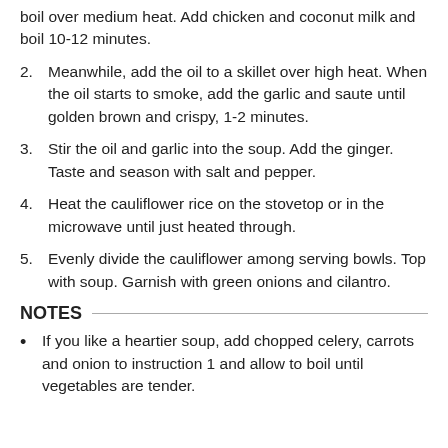boil over medium heat.  Add chicken and coconut milk and boil 10-12 minutes.
2. Meanwhile, add the oil to a skillet over high heat.  When the oil starts to smoke, add the garlic and saute until golden brown and crispy, 1-2 minutes.
3. Stir the oil and garlic into the soup.  Add the ginger.  Taste and season with salt and pepper.
4. Heat the cauliflower rice on the stovetop or in the microwave until just heated through.
5. Evenly divide the cauliflower among serving bowls.  Top with soup.  Garnish with green onions and cilantro.
NOTES
If you like a heartier soup, add chopped celery, carrots and onion to instruction 1 and allow to boil until vegetables are tender.